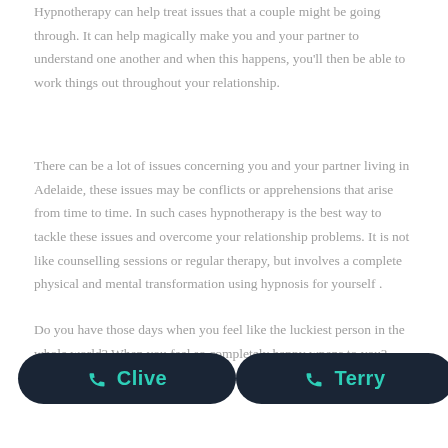Hypnotherapy can help treat issues that a couple might be going through. It can help magically make you and your partner to understand one another and when this happens, you'll then be able to work things out throughout your relationship.
There can be a lot of issues concerning you and your partner living in Adelaide, these issues may be conflicts or apprehensions that arise from time to time. In such cases hypnotherapy is the best way to tackle these issues and overcome your relationship problems. It is not like counselling sessions or regular therapy, but involves a complete physical and mental transformation using hypnosis for yourself .
Do you have those days when you feel like the luckiest person in the whole world? When you feel so completely happy w... happens to you? come you can't feel this way more often, instead of i...
[Figure (other): Two call-to-action buttons side by side. Left button: dark navy rounded pill with teal phone icon and teal text 'Clive'. Right button: dark navy rounded pill with teal phone icon and teal text 'Terry'.]